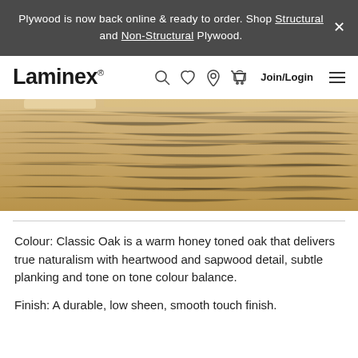Plywood is now back online & ready to order. Shop Structural and Non-Structural Plywood.
Laminex
[Figure (photo): Close-up photo of a wood laminate sample showing Classic Oak finish — warm honey-toned oak with visible heartwood and sapwood grain details]
Colour: Classic Oak is a warm honey toned oak that delivers true naturalism with heartwood and sapwood detail, subtle planking and tone on tone colour balance.
Finish: A durable, low sheen, smooth touch finish.